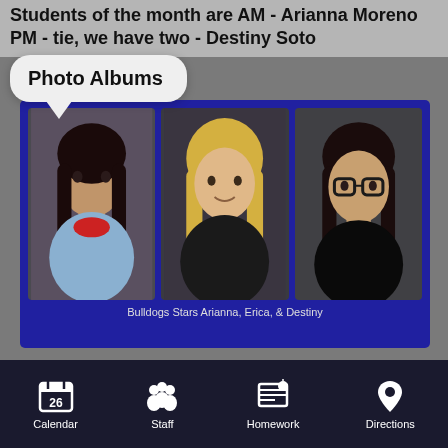Students of the month are AM - Arianna Moreno PM - tie, we have two - Destiny Soto
[Figure (screenshot): Photo Albums popup tooltip overlay on a school webpage]
[Figure (photo): Three student portrait photos (Arianna, Erica, and Destiny) displayed in a blue-bordered photo album grid]
Bulldogs Stars Arianna, Erica, & Destiny
2021-22 Classified of the Year
[Figure (photo): Partial view of a student photo for 2021-22 Classified of the Year, showing top of head with braided hair]
Calendar  Staff  Homework  Directions